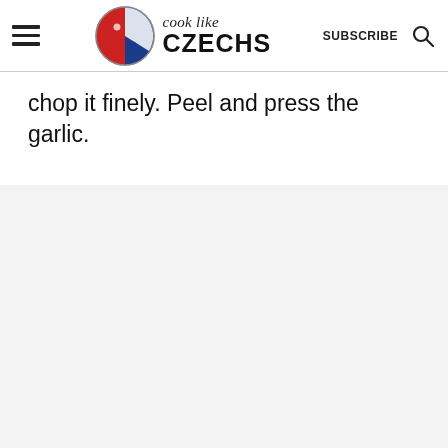cook like CZECHS — SUBSCRIBE [search icon]
chop it finely. Peel and press the garlic.